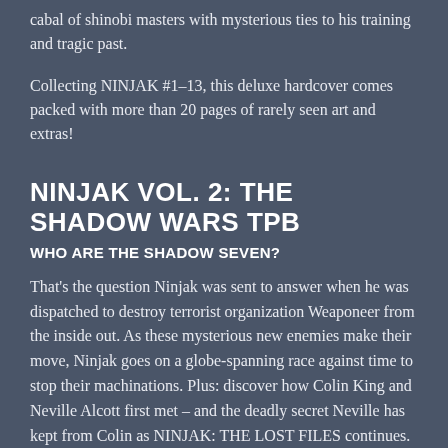cabal of shinobi masters with mysterious ties to his training and tragic past.
Collecting NINJAK #1–13, this deluxe hardcover comes packed with more than 20 pages of rarely seen art and extras!
NINJAK VOL. 2: THE SHADOW WARS TPB
WHO ARE THE SHADOW SEVEN?
That's the question Ninjak was sent to answer when he was dispatched to destroy terrorist organization Weaponeer from the inside out. As these mysterious new enemies make their move, Ninjak goes on a globe-spanning race against time to stop their machinations. Plus: discover how Colin King and Neville Alcott first met – and the deadly secret Neville has kept from Colin as NINJAK: THE LOST FILES continues.
Start reading here as New York Times best-selling writer